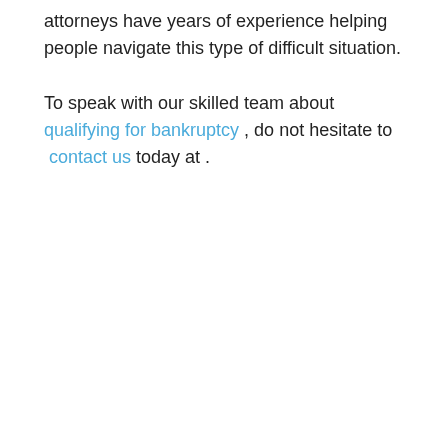attorneys have years of experience helping people navigate this type of difficult situation.
To speak with our skilled team about qualifying for bankruptcy , do not hesitate to contact us today at .